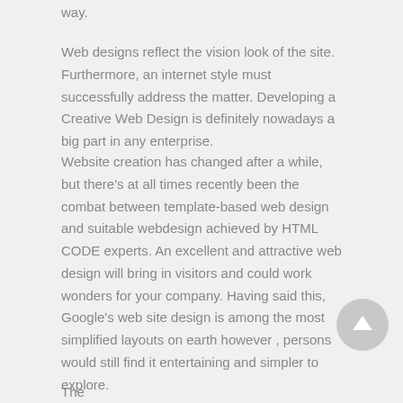way.
Web designs reflect the vision look of the site. Furthermore, an internet style must successfully address the matter. Developing a Creative Web Design is definitely nowadays a big part in any enterprise.
Website creation has changed after a while, but there's at all times recently been the combat between template-based web design and suitable webdesign achieved by HTML CODE experts. An excellent and attractive web design will bring in visitors and could work wonders for your company. Having said this, Google's web site design is among the most simplified layouts on earth however , persons would still find it entertaining and simpler to explore.
The chief factor...